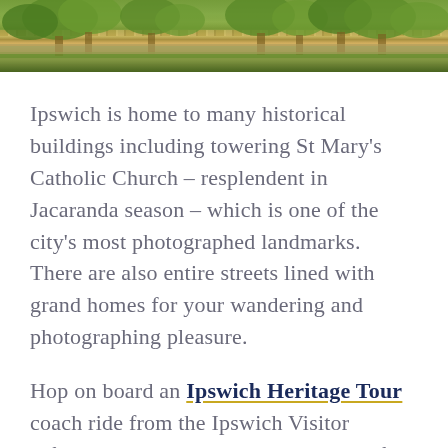[Figure (photo): Outdoor photo banner showing trees, grass, a fence line and road in Ipswich, Queensland. Green trees visible in background, foreground shows green lawn area with a low fence/wall structure.]
Ipswich is home to many historical buildings including towering St Mary's Catholic Church – resplendent in Jacaranda season – which is one of the city's most photographed landmarks. There are also entire streets lined with grand homes for your wandering and photographing pleasure.
Hop on board an Ipswich Heritage Tour coach ride from the Ipswich Visitor Information Centre to discover some of these fascinating buildings.